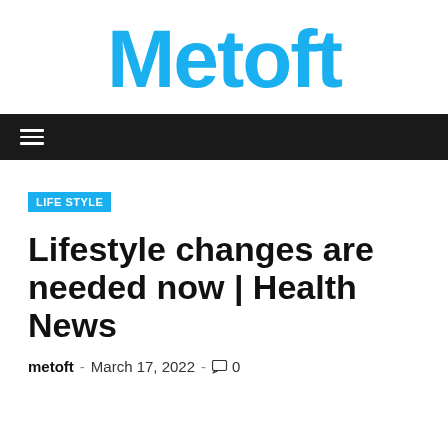Metoft
LIFE STYLE
Lifestyle changes are needed now | Health News
metoft  -  March 17, 2022  -  0